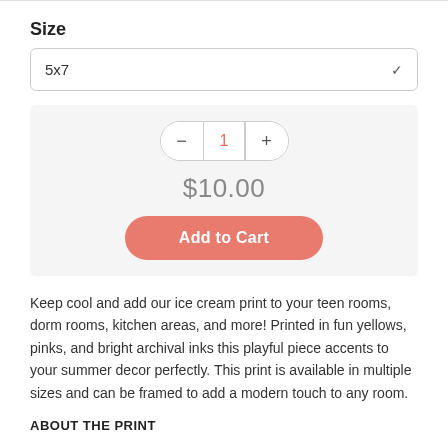Size
5x7
[Figure (screenshot): Quantity selector showing minus button, quantity 1, and plus button in a rounded pill control, with price $10.00 below and an Add to Cart button]
Keep cool and add our ice cream print to your teen rooms, dorm rooms, kitchen areas, and more! Printed in fun yellows, pinks, and bright archival inks this playful piece accents to your summer decor perfectly. This print is available in multiple sizes and can be framed to add a modern touch to any room.
ABOUT THE PRINT